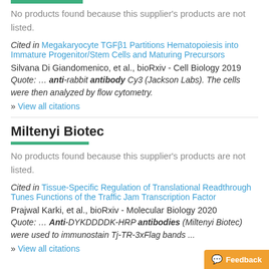No products found because this supplier's products are not listed.
Cited in Megakaryocyte TGFβ1 Partitions Hematopoiesis into Immature Progenitor/Stem Cells and Maturing Precursors
Silvana Di Giandomenico, et al., bioRxiv - Cell Biology 2019
Quote: … anti-rabbit antibody Cy3 (Jackson Labs). The cells were then analyzed by flow cytometry.
» View all citations
Miltenyi Biotec
No products found because this supplier's products are not listed.
Cited in Tissue-Specific Regulation of Translational Readthrough Tunes Functions of the Traffic Jam Transcription Factor
Prajwal Karki, et al., bioRxiv - Molecular Biology 2020
Quote: … Anti-DYKDDDDK-HRP antibodies (Miltenyi Biotec) were used to immunostain Tj-TR-3xFlag bands ...
» View all citations